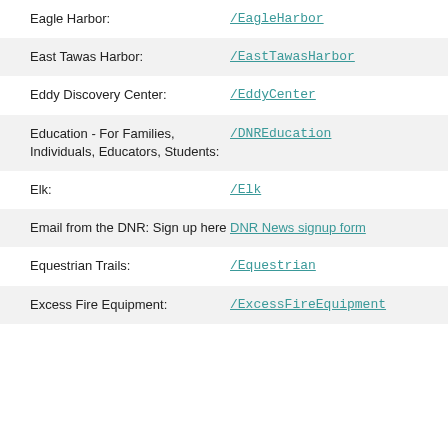Eagle Harbor: /EagleHarbor
East Tawas Harbor: /EastTawasHarbor
Eddy Discovery Center: /EddyCenter
Education - For Families, Individuals, Educators, Students: /DNREducation
Elk: /Elk
Email from the DNR: Sign up here - DNR News signup form
Equestrian Trails: /Equestrian
Excess Fire Equipment: /ExcessFireEquipment